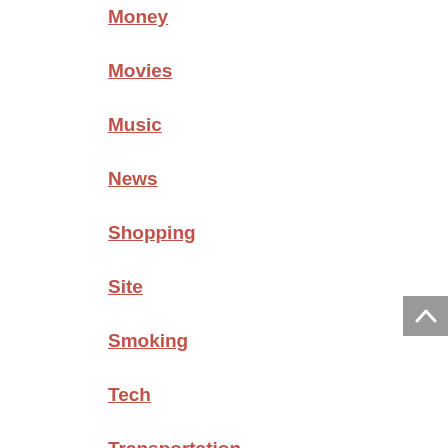Money
Movies
Music
News
Shopping
Site
Smoking
Tech
Transportation
Uncat
Work
Recent Post
6 Tips To Help You Secure Your Family's Financial Future
Top 10 most unusual subway in the world